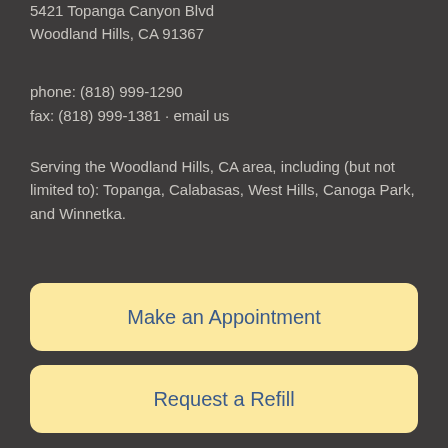5421 Topanga Canyon Blvd
Woodland Hills, CA 91367
phone: (818) 999-1290
fax: (818) 999-1381 · email us
Serving the Woodland Hills, CA area, including (but not limited to): Topanga, Calabasas, West Hills, Canoga Park, and Winnetka.
Make an Appointment
Request a Refill
© 2022 VetCor. All rights reserved. View our Privacy Policy.